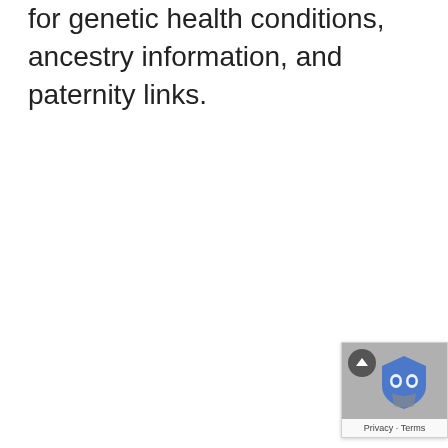for genetic health conditions, ancestry information, and paternity links.
[Figure (other): reCAPTCHA badge widget in the bottom-right corner, showing a robot/shield icon with an upward arrow button, and 'Privacy · Terms' text below.]